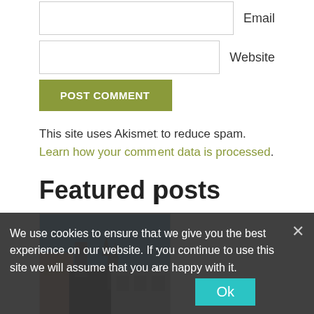Email
Website
POST COMMENT
This site uses Akismet to reduce spam. Learn how your comment data is processed.
Featured posts
[Figure (photo): Photograph of buildings and a clear blue sky, appears to be a European town square or street scene.]
Honey, I'm Stock(holm)!
It has officially been a week since we left Sweden, and we are missing
We use cookies to ensure that we give you the best experience on our website. If you continue to use this site we will assume that you are happy with it.
Ok